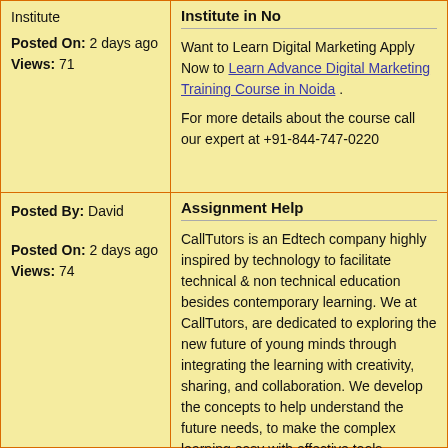Institute
Posted On: 2 days ago
Views: 71
Institute in No
Want to Learn Digital Marketing Apply Now to Learn Advance Digital Marketing Training Course in Noida .
For more details about the course call our expert at +91-844-747-0220
Posted By: David
Posted On: 2 days ago
Views: 74
Assignment Help
CallTutors is an Edtech company highly inspired by technology to facilitate technical & non technical education besides contemporary learning. We at CallTutors, are dedicated to exploring the new future of young minds through integrating the learning with creativity, sharing, and collaboration. We develop the concepts to help understand the future needs, to make the complex learning easy with effective tools, techniques & highly qualified experts. We provide a learning environment that works on education empowered with technology and unconditional learning solutions.